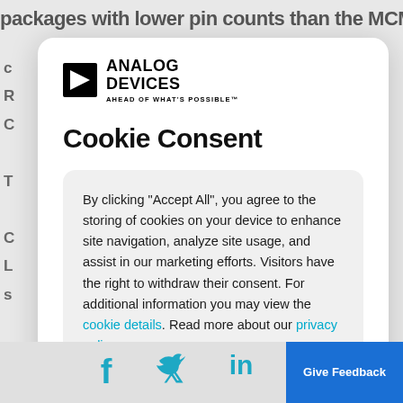packages with lower pin counts than the MCMs being
[Figure (logo): Analog Devices logo with triangle/play icon and text 'ANALOG DEVICES AHEAD OF WHAT'S POSSIBLE']
Cookie Consent
By clicking “Accept All”, you agree to the storing of cookies on your device to enhance site navigation, analyze site usage, and assist in our marketing efforts. Visitors have the right to withdraw their consent. For additional information you may view the cookie details. Read more about our privacy policy.
✓ Accept All
[Figure (infographic): Footer bar with Facebook, Twitter, LinkedIn, LINE social media icons and a 'Give Feedback' blue button]